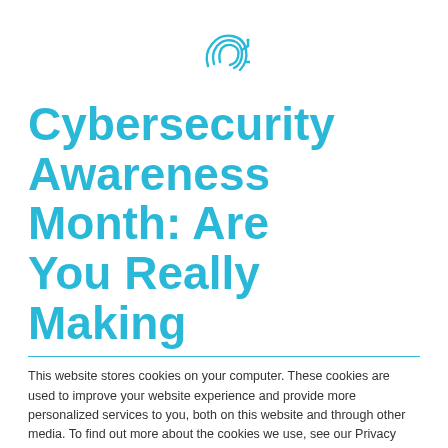[Figure (logo): Teal/blue stylized circuit or fingerprint logo icon centered at top of page]
Cybersecurity Awareness Month: Are You Really Making
This website stores cookies on your computer. These cookies are used to improve your website experience and provide more personalized services to you, both on this website and through other media. To find out more about the cookies we use, see our Privacy Policy.
We won't track your information when you visit our site. But in order to comply with your preferences, we'll have to use just one tiny cookie so that you're not asked to make this choice again.